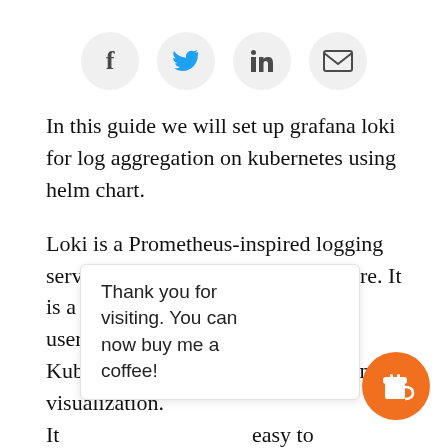[Figure (other): Social sharing icons: Facebook, Twitter, LinkedIn, Email — each in a light gray circle]
In this guide we will set up grafana loki for log aggregation on kubernetes using helm chart.
Loki is a Prometheus-inspired logging service for cloud native infrastructure. It is a logging backend optimized for users running Prometheus and Kubernetes with great logs search and visualization. It easy to op ne b bu n.
Thank you for visiting. You can now buy me a coffee!